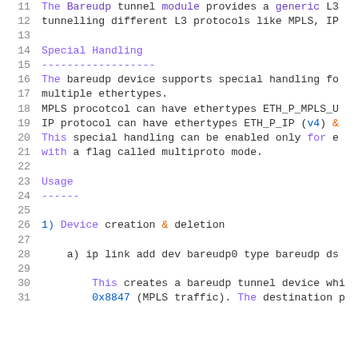11   The Bareudp tunnel module provides a generic L3
12   tunnelling different L3 protocols like MPLS, IP
13   (empty line)
14   Special Handling
15   ------------------
16   The bareudp device supports special handling fo
17   multiple ethertypes.
18   MPLS procotcol can have ethertypes ETH_P_MPLS_U
19   IP protocol can have ethertypes ETH_P_IP (v4) &
20   This special handling can be enabled only for e
21   with a flag called multiproto mode.
22   (empty line)
23   Usage
24   ------
25   (empty line)
26   1) Device creation & deletion
27   (empty line)
28      a) ip link add dev bareudp0 type bareudp ds
29   (empty line)
30         This creates a bareudp tunnel device whi
31         0x8847 (MPLS traffic). The destination p